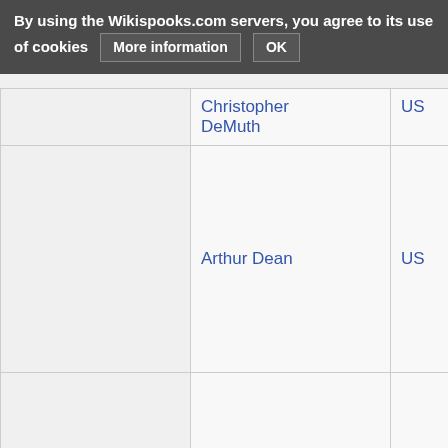| Name | Country | Born |
| --- | --- | --- |
| Christopher DeMuth | US | 5 Au… 1946… |
| Arthur Dean | US | 1897… |
| Frederick Deming | US | 1913… |
| John Deutch | US | 27 J… 1938… |